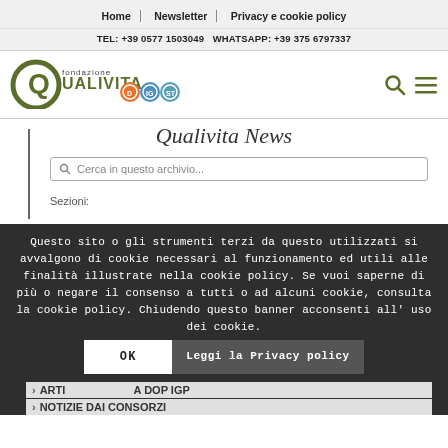Home | Newsletter | Privacy e cookie policy
TEL: +39 0577 1503049 WHATSAPP: +39 375 6797337
[Figure (logo): Fondazione Qualivita logo with Q icon and DOP/IGP/STG certification badges]
Qualivita News
Questo sito o gli strumenti terzi da questo utilizzati si avvalgono di cookie necessari al funzionamento ed utili alle finalità illustrate nella cookie policy. Se vuoi saperne di più o negare il consenso a tutti o ad alcuni cookie, consulta la cookie policy. Chiudendo questo banner acconsenti all'uso dei cookie.
OK
Leggi la Privacy policy
Sezioni:
ARTICOLI SU DOP IGA DOP IGP
NOTIZIE DAI CONSORZI